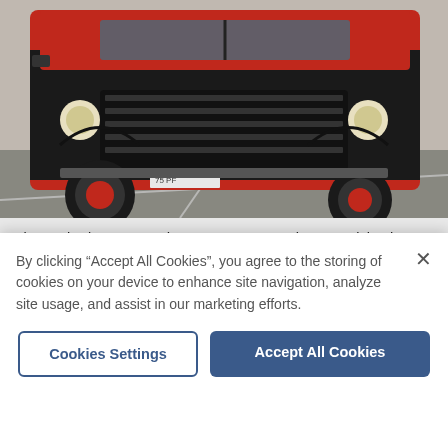[Figure (photo): Close-up front view of a vintage red lorry/truck parked in a car park, with large black fenders and red painted wheel hub details. License plate partially visible reading '...75 PF'.]
Vintage lorries, cars and scooters were on show at Wisbech & District Historic Vehicle Club's annual road run which passed through parts of Fenland. - Credit: Supplied/Bill Morton
[Figure (photo): Front view of a dark-coloured vintage lorry with 'CAPELS TRANSPORT LTD' written in yellow letters on a sign above the cab windscreen. Cloudy sky and buildings visible in background.]
By clicking “Accept All Cookies”, you agree to the storing of cookies on your device to enhance site navigation, analyze site usage, and assist in our marketing efforts.
Cookies Settings
Accept All Cookies